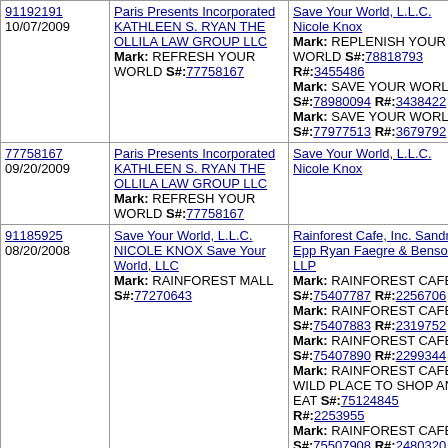| 91192191
10/07/2009 | Paris Presents Incorporated KATHLEEN S. RYAN THE OLLILA LAW GROUP LLC
Mark: REFRESH YOUR WORLD S#:77758167 | Save Your World, L.L.C. Nicole Knox
Mark: REPLENISH YOUR WORLD S#:78818793 R#:3455486
Mark: SAVE YOUR WORLD S#:78980094 R#:3438422
Mark: SAVE YOUR WORLD S#:77977513 R#:3679792 |
| 77758167
09/20/2009 | Paris Presents Incorporated KATHLEEN S. RYAN THE OLLILA LAW GROUP LLC
Mark: REFRESH YOUR WORLD S#:77758167 | Save Your World, L.L.C. Nicole Knox |
| 91185925
08/20/2008 | Save Your World, L.L.C. NICOLE KNOX Save Your World, LLC
Mark: RAINFOREST MALL S#:77270643 | Rainforest Cafe, Inc. Sandra Epp Ryan Faegre & Benson LLP
Mark: RAINFOREST CAFE S#:75407787 R#:2256706
Mark: RAINFOREST CAFE S#:75407883 R#:2319752
Mark: RAINFOREST CAFE S#:75407890 R#:2299344
Mark: RAINFOREST CAFE A WILD PLACE TO SHOP AND EAT S#:75124845 R#:2253955
Mark: RAINFOREST CAFE S#:75507908 R#:2480320 |
| 77270643
... | Save Your World, L.L.C. ... | Rainforest Cafe, Inc. ... |